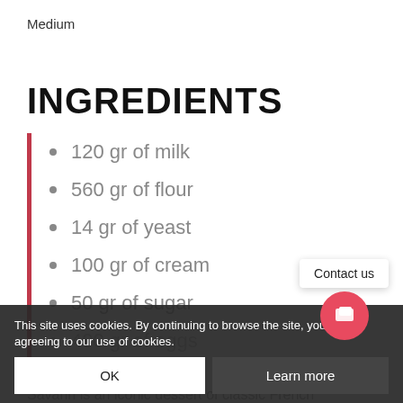Medium
INGREDIENTS
120 gr of milk
560 gr of flour
14 gr of yeast
100 gr of cream
50 gr of sugar
400 gr of eggs
150 gr of butter
10 gr of ...
This site uses cookies. By continuing to browse the site, you are agreeing to our use of cookies.
Savarin is an iconic dessert of classic French